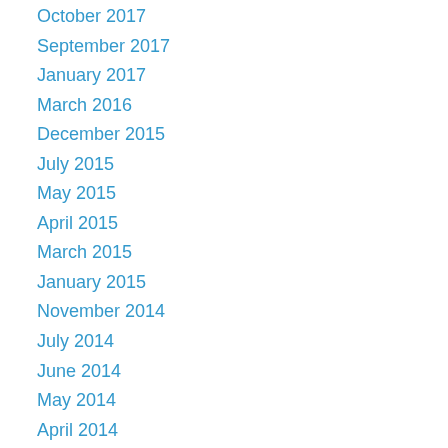October 2017
September 2017
January 2017
March 2016
December 2015
July 2015
May 2015
April 2015
March 2015
January 2015
November 2014
July 2014
June 2014
May 2014
April 2014
March 2014
February 2014
January 2014
December 2013
November 2013